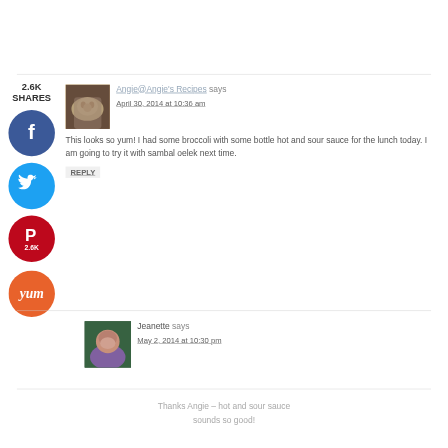2.6K SHARES
[Figure (illustration): Facebook share button (blue circle with white f)]
[Figure (illustration): Twitter share button (cyan circle with white bird)]
[Figure (illustration): Pinterest share button (red circle with P, 2.6K count)]
[Figure (illustration): Yummly share button (orange circle with yum text)]
[Figure (photo): Cat avatar photo for Angie@Angie's Recipes]
Angie@Angie's Recipes says
April 30, 2014 at 10:36 am
This looks so yum! I had some broccoli with some bottle hot and sour sauce for the lunch today. I am going to try it with sambal oelek next time.
REPLY
[Figure (photo): Woman avatar photo for Jeanette]
Jeanette says
May 2, 2014 at 10:30 pm
Thanks Angie – hot and sour sauce sounds so good!